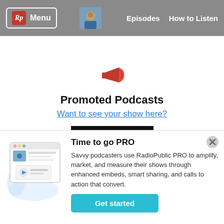Rp Menu | Episodes | How to Listen
Promoted Podcasts
Want to see your show here?
[Figure (illustration): Black square placeholder image]
Time to go PRO
Savvy podcasters use RadioPublic PRO to amplify, market, and measure their shows through enhanced embeds, smart sharing, and calls to action that convert.
Get started